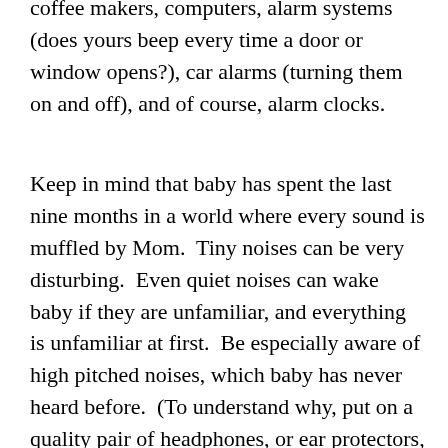coffee makers, computers, alarm systems (does yours beep every time a door or window opens?), car alarms (turning them on and off), and of course, alarm clocks.
Keep in mind that baby has spent the last nine months in a world where every sound is muffled by Mom.  Tiny noises can be very disturbing.  Even quiet noises can wake baby if they are unfamiliar, and everything is unfamiliar at first.  Be especially aware of high pitched noises, which baby has never heard before.  (To understand why, put on a quality pair of headphones, or ear protectors, or just hold your hands over your earns.  Muffled